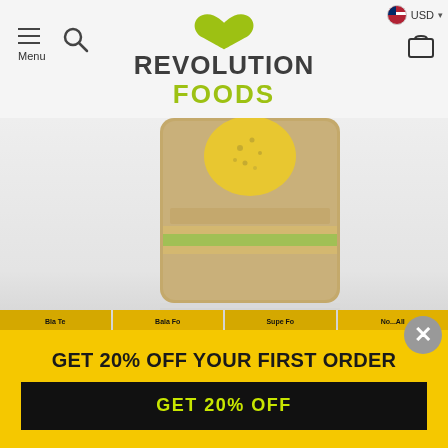[Figure (screenshot): Revolution Foods e-commerce website header with logo, menu, search, cart, and currency selector]
[Figure (photo): Revolution Foods product bag containing quinoa or similar grain, in kraft paper packaging with yellow heart logo, shown on white background with reflection]
[Figure (screenshot): Navigation tab buttons in yellow/gold color showing product categories, partially visible]
GET 20% OFF YOUR FIRST ORDER
GET 20% OFF